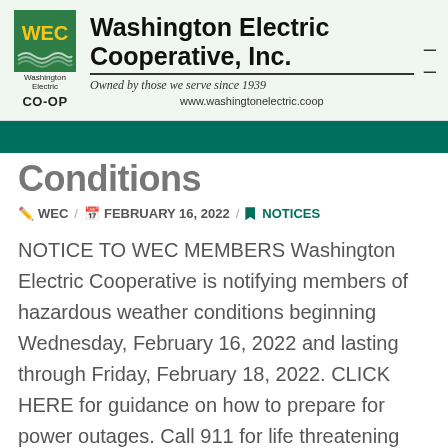[Figure (logo): Washington Electric Cooperative Inc. logo with WEC green square logo, tagline 'Owned by those we serve since 1939', and website www.washingtonelectric.coop]
Conditions
WEC / FEBRUARY 16, 2022 / NOTICES
NOTICE TO WEC MEMBERS Washington Electric Cooperative is notifying members of hazardous weather conditions beginning Wednesday, February 16, 2022 and lasting through Friday, February 18, 2022. CLICK HERE for guidance on how to prepare for power outages. Call 911 for life threatening emergencies. If you need other help, call 211 to find any emergency resource you